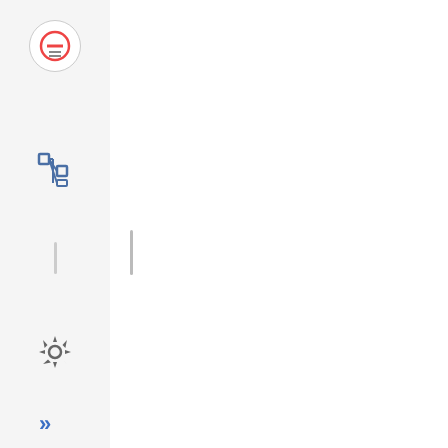[Figure (screenshot): Document annotation tool UI showing left sidebar with icons (no-entry circle icon, tree/hierarchy icon, gear icon, double-arrow icon), a main white content area, and a right panel with green bordered boxes showing document structure elements.]
Border Crossings in the age of COVID 19: TIR keeps borders open
Table Cell (td)
UNECE-IRU flye r
Table Row (tr)
Table